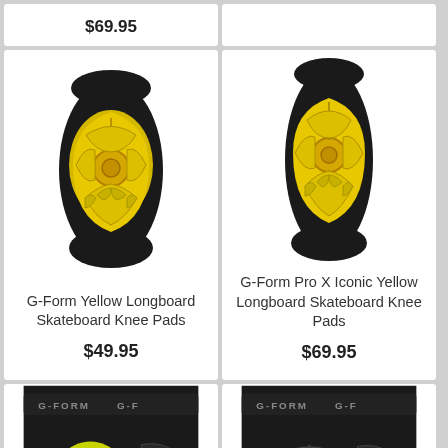$69.95
[Figure (photo): G-Form Yellow Longboard Skateboard Knee Pad product photo on black fabric sleeve, yellow protective cap]
G-Form Yellow Longboard Skateboard Knee Pads
$49.95
[Figure (photo): G-Form Pro X Iconic Yellow Longboard Skateboard Knee Pad product photo on black fabric sleeve, yellow protective cap]
G-Form Pro X Iconic Yellow Longboard Skateboard Knee Pads
$69.95
[Figure (photo): G-Form black and yellow shorts/hip pad product photo, partial view from side]
[Figure (photo): G-Form black shorts/hip pad product photo, partial view from side]